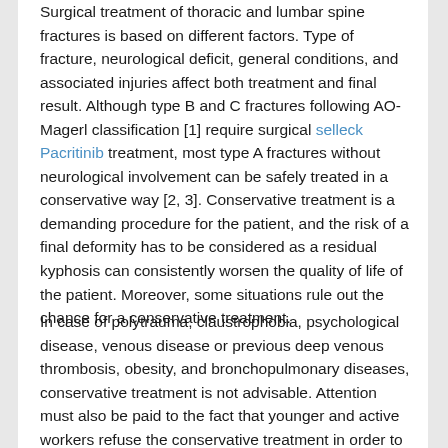Surgical treatment of thoracic and lumbar spine fractures is based on different factors. Type of fracture, neurological deficit, general conditions, and associated injuries affect both treatment and final result. Although type B and C fractures following AO-Magerl classification [1] require surgical selleck Pacritinib treatment, most type A fractures without neurological involvement can be safely treated in a conservative way [2, 3]. Conservative treatment is a demanding procedure for the patient, and the risk of a final deformity has to be considered as a residual kyphosis can consistently worsen the quality of life of the patient. Moreover, some situations rule out the chance for a conservative treatment.
In case of polytrauma, claustrophobia, psychological disease, venous disease or previous deep venous thrombosis, obesity, and bronchopulmonary diseases, conservative treatment is not advisable. Attention must also be paid to the fact that younger and active workers refuse the conservative treatment in order to avoid bed rest and an inactive period. A traditional open surgery may be an overtreatment in all these cases, considering blood